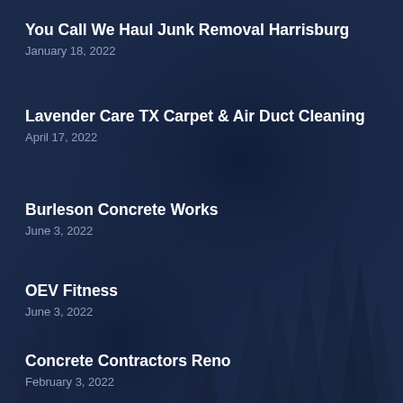You Call We Haul Junk Removal Harrisburg
January 18, 2022
Lavender Care TX Carpet & Air Duct Cleaning
April 17, 2022
Burleson Concrete Works
June 3, 2022
OEV Fitness
June 3, 2022
Concrete Contractors Reno
February 3, 2022